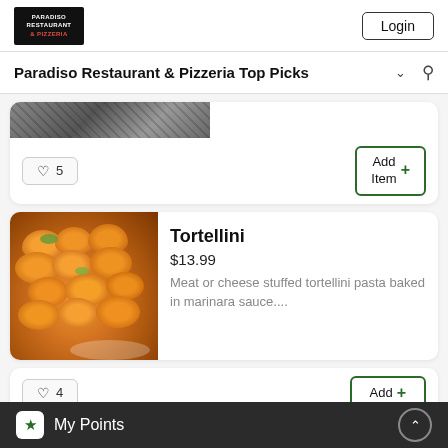[Figure (logo): Paradiso Restaurant & Pizzeria logo, dark background with yellow and red text]
Login
Paradiso Restaurant & Pizzeria Top Picks
[Figure (photo): Partial food photo at top of first card, cut off]
♡ 5
Add Item +
[Figure (photo): Photo of tortellini pasta with orange marinara sauce and green herb garnish on white plate]
Tortellini
$13.99
Meat or cheese stuffed tortellini pasta baked in marinara sauce....
♡ 4
Add +
My Points